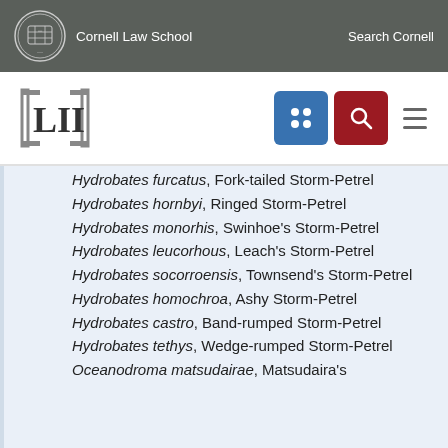Cornell Law School   Search Cornell
[Figure (logo): LII Legal Information Institute logo with Cornell Law School branding]
Hydrobates furcatus, Fork-tailed Storm-Petrel
Hydrobates hornbyi, Ringed Storm-Petrel
Hydrobates monorhis, Swinhoe's Storm-Petrel
Hydrobates leucorhous, Leach's Storm-Petrel
Hydrobates socorroensis, Townsend's Storm-Petrel
Hydrobates homochroa, Ashy Storm-Petrel
Hydrobates castro, Band-rumped Storm-Petrel
Hydrobates tethys, Wedge-rumped Storm-Petrel
Oceanodroma matsudairae, Matsudaira's